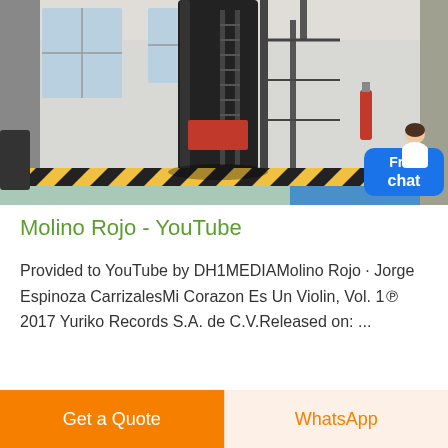[Figure (photo): Industrial photo showing a large black cylindrical machine or rocket-like structure with ladders and scaffolding in a warehouse/factory setting. Yellow and black hazard striped flooring visible. A chat assistant avatar overlay in top-right with 'Free chat' blue badge.]
Molino Rojo - YouTube
Provided to YouTube by DH1MEDIAMolino Rojo · Jorge Espinoza CarrizalesMi Corazon Es Un Violin, Vol. 1℗ 2017 Yuriko Records S.A. de C.V.Released on: ...
Get a Quote
WhatsApp